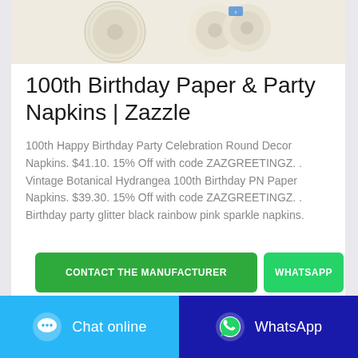[Figure (photo): Product photo showing rolls of white/cream paper napkins or tape rolls on a light beige background]
100th Birthday Paper & Party Napkins | Zazzle
100th Happy Birthday Party Celebration Round Decor Napkins. $41.10. 15% Off with code ZAZGREETINGZ. . Vintage Botanical Hydrangea 100th Birthday PN Paper Napkins. $39.30. 15% Off with code ZAZGREETINGZ. . Birthday party glitter black rainbow pink sparkle napkins.
CONTACT THE MANUFACTURER
WHATSAPP
Chat online
WhatsApp